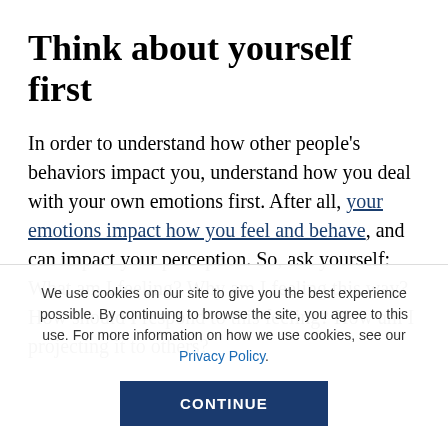Think about yourself first
In order to understand how other people's behaviors impact you, understand how you deal with your own emotions first. After all, your emotions impact how you feel and behave, and can impact your perception. So, ask yourself: What am I feeling? Why am I feeling this way? How should I respond to this feeling? How am I projecting it to others?
We use cookies on our site to give you the best experience possible. By continuing to browse the site, you agree to this use. For more information on how we use cookies, see our Privacy Policy.
CONTINUE